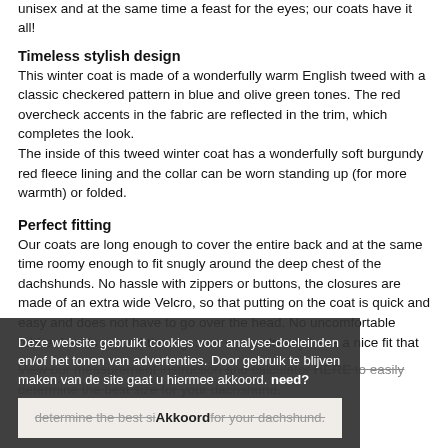unisex and at the same time a feast for the eyes; our coats have it all!
Timeless stylish design
This winter coat is made of a wonderfully warm English tweed with a classic checkered pattern in blue and olive green tones. The red overcheck accents in the fabric are reflected in the trim, which completes the look.
The inside of this tweed winter coat has a wonderfully soft burgundy red fleece lining and the collar can be worn standing up (for more warmth) or folded.
Perfect fitting
Our coats are long enough to cover the entire back and at the same time roomy enough to fit snugly around the deep chest of the dachshunds. No hassle with zippers or buttons, the closures are made of an extra wide Velcro, so that putting on the coat is quick and easy and does not have to go over the head. No uncomfortable rubber bands around the legs: our coats already have a nice fit that
View our measurement instruction and calculator HERE to easily determine the best size for your dachshund.
Deze website gebruikt cookies voor analyse-doeleinden en/of het tonen van advertenties. Door gebruik te blijven maken van de site gaat u hiermee akkoord.
need?
Akkoord